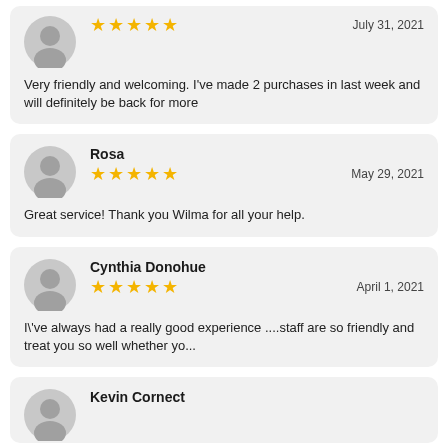[Figure (other): Review card with avatar, 5 stars, date July 31 2021, and review text]
Very friendly and welcoming. I've made 2 purchases in last week and will definitely be back for more
[Figure (other): Review card for Rosa with avatar, 5 stars, date May 29 2021]
Rosa
Great service! Thank you Wilma for all your help.
[Figure (other): Review card for Cynthia Donohue with avatar, 5 stars, date April 1 2021]
Cynthia Donohue
I\'ve always had a really good experience ....staff are so friendly and treat you so well whether yo...
[Figure (other): Partial review card for Kevin Cornect]
Kevin Cornect